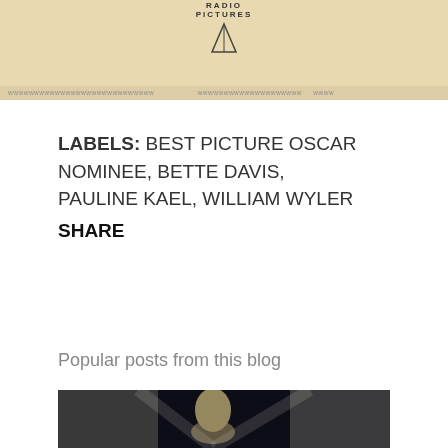[Figure (photo): Vintage RKO Radio Pictures logo/letterhead image with a triangular logo and aged paper background, with a small text bar at the bottom]
LABELS: BEST PICTURE OSCAR NOMINEE, BETTE DAVIS, PAULINE KAEL, WILLIAM WYLER
SHARE
Popular posts from this blog
[Figure (photo): Dark black and white cinematic photograph showing a figure against a high-contrast dramatic background]